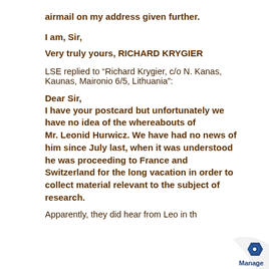airmail on my address given further.
I am, Sir,
Very truly yours, RICHARD KRYGIER
LSE replied to “Richard Krygier, c/o N. Kanas, Kaunas, Maironio 6/5, Lithuania”:
Dear Sir,
I have your postcard but unfortunately we have no idea of the whereabouts of Mr. Leonid Hurwicz. We have had no news of him since July last, when it was understood he was proceeding to France and Switzerland for the long vacation in order to collect material relevant to the subject of research.
Apparently, they did hear from Leo in th